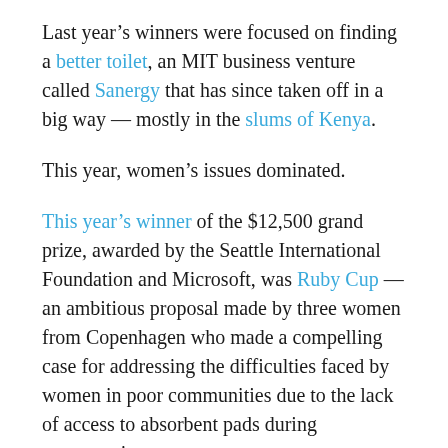Last year's winners were focused on finding a better toilet, an MIT business venture called Sanergy that has since taken off in a big way — mostly in the slums of Kenya.
This year, women's issues dominated.
This year's winner of the $12,500 grand prize, awarded by the Seattle International Foundation and Microsoft, was Ruby Cup — an ambitious proposal made by three women from Copenhagen who made a compelling case for addressing the difficulties faced by women in poor communities due to the lack of access to absorbent pads during menstruation.